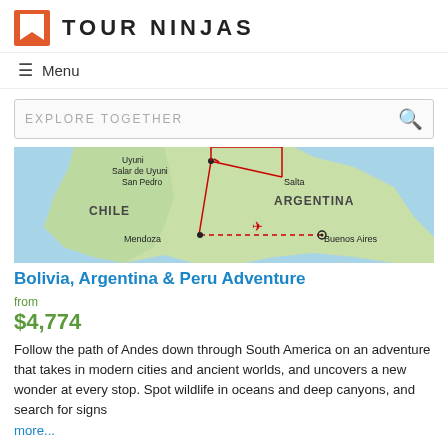TOUR NINJAS
≡ Menu
EXPLORE TOGETHER
[Figure (map): Map of South America showing a tour route through Bolivia, Argentina and Peru. Red lines connect cities: Uyuni, Salar de Uyuni, San Pedro, Salta, Mendoza, Buenos Aires. Labels: CHILE, ARGENTINA.]
Bolivia, Argentina & Peru Adventure
from
$4,774
Follow the path of Andes down through South America on an adventure that takes in modern cities and ancient worlds, and uncovers a new wonder at every stop. Spot wildlife in oceans and deep canyons, and search for signs
more...